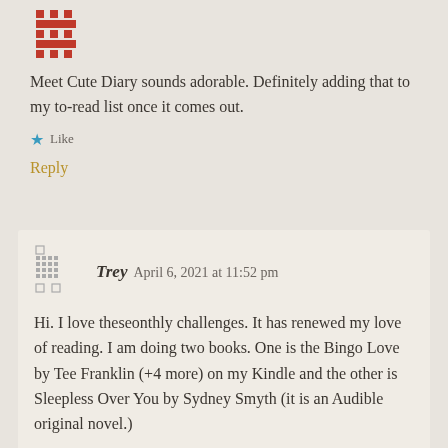[Figure (illustration): Red pixel-art avatar icon at top of first comment]
Meet Cute Diary sounds adorable. Definitely adding that to my to-read list once it comes out.
★ Like
Reply
[Figure (illustration): Gray pixel-art grid avatar icon for user Trey]
Trey   April 6, 2021 at 11:52 pm
Hi. I love theseonthly challenges. It has renewed my love of reading. I am doing two books. One is the Bingo Love by Tee Franklin (+4 more) on my Kindle and the other is Sleepless Over You by Sydney Smyth (it is an Audible original novel.)
★ Like